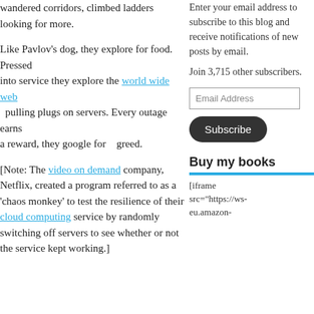wandered corridors, climbed ladders looking for more.
Like Pavlov's dog, they explore for food. Pressed into service they explore the world wide web pulling plugs on servers. Every outage earns a reward, they google for   greed.
[Note: The video on demand company, Netflix, created a program referred to as a 'chaos monkey' to test the resilience of their cloud computing service by randomly switching off servers to see whether or not the service kept working.]
Enter your email address to subscribe to this blog and receive notifications of new posts by email.
Join 3,715 other subscribers.
Email Address
Subscribe
Buy my books
[iframe src="https://ws-eu.amazon-